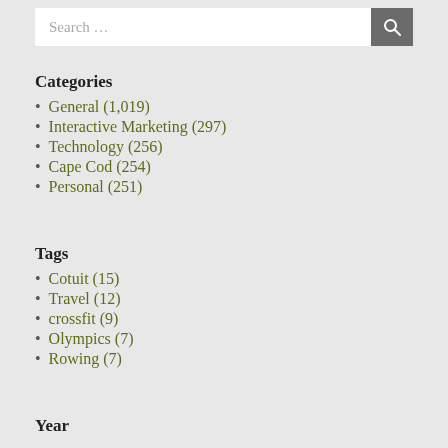Categories
General (1,019)
Interactive Marketing (297)
Technology (256)
Cape Cod (254)
Personal (251)
Tags
Cotuit (15)
Travel (12)
crossfit (9)
Olympics (7)
Rowing (7)
Year